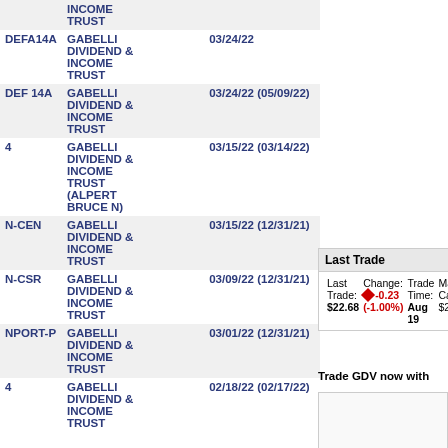| Form | Company | Date |
| --- | --- | --- |
|  | INCOME TRUST |  |
| DEFA14A | GABELLI DIVIDEND & INCOME TRUST | 03/24/22 |
| DEF 14A | GABELLI DIVIDEND & INCOME TRUST | 03/24/22 (05/09/22) |
| 4 | GABELLI DIVIDEND & INCOME TRUST (ALPERT BRUCE N) | 03/15/22 (03/14/22) |
| N-CEN | GABELLI DIVIDEND & INCOME TRUST | 03/15/22 (12/31/21) |
| N-CSR | GABELLI DIVIDEND & INCOME TRUST | 03/09/22 (12/31/21) |
| NPORT-P | GABELLI DIVIDEND & INCOME TRUST | 03/01/22 (12/31/21) |
| 4 | GABELLI DIVIDEND & INCOME TRUST | 02/18/22 (02/17/22) |
Last Trade
Last Trade: $22.68 | Change: -0.23 (-1.00%) | Trade Time: Aug 19 | Market Cap: $2.
Trade GDV now with